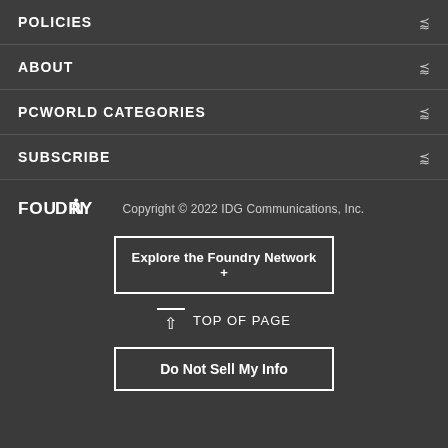POLICIES
ABOUT
PCWORLD CATEGORIES
SUBSCRIBE
[Figure (logo): FOUNDRY logo in white text]
Copyright © 2022 IDG Communications, Inc.
Explore the Foundry Network +
TOP OF PAGE
Do Not Sell My Info